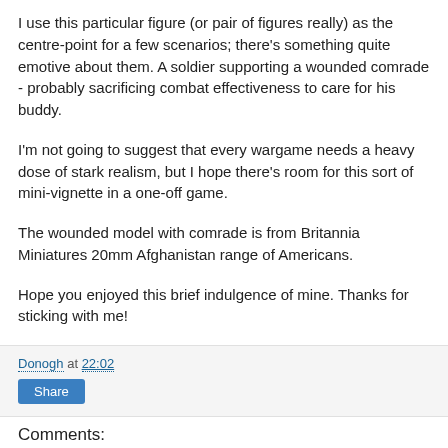I use this particular figure (or pair of figures really) as the centre-point for a few scenarios; there's something quite emotive about them. A soldier supporting a wounded comrade - probably sacrificing combat effectiveness to care for his buddy.
I'm not going to suggest that every wargame needs a heavy dose of stark realism, but I hope there's room for this sort of mini-vignette in a one-off game.
The wounded model with comrade is from Britannia Miniatures 20mm Afghanistan range of Americans.
Hope you enjoyed this brief indulgence of mine. Thanks for sticking with me!
Donogh at 22:02
Share
Comments: